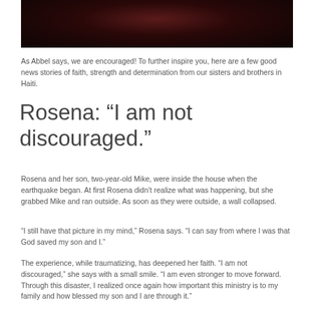[Figure (photo): Dark photograph, mostly black with a reddish/dark center, appears to be a low-light image]
As Abbel says, we are encouraged! To further inspire you, here are a few good news stories of faith, strength and determination from our sisters and brothers in Haiti.
Rosena: “I am not discouraged.”
Rosena and her son, two-year-old Mike, were inside the house when the earthquake began. At first Rosena didn’t realize what was happening, but she grabbed Mike and ran outside. As soon as they were outside, a wall collapsed.
“I still have that picture in my mind,” Rosena says. “I can say from where I was that God saved my son and I.”
The experience, while traumatizing, has deepened her faith. “I am not discouraged,” she says with a small smile. “I am even stronger to move forward. Through this disaster, I realized once again how important this ministry is to my family and how blessed my son and I are through it.”